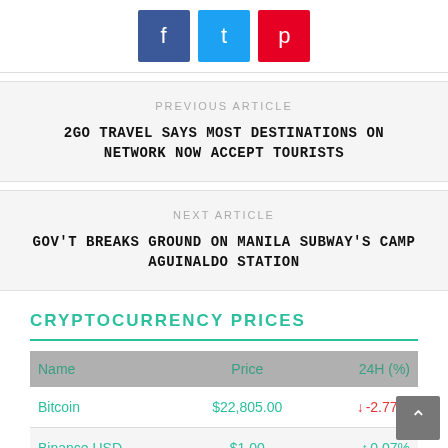[Figure (other): Social share buttons: Facebook (blue), Twitter (light blue), Pinterest (red)]
PREVIOUS ARTICLE
2GO TRAVEL SAYS MOST DESTINATIONS ON NETWORK NOW ACCEPT TOURISTS
NEXT ARTICLE
GOV'T BREAKS GROUND ON MANILA SUBWAY'S CAMP AGUINALDO STATION
CRYPTOCURRENCY PRICES
| Name | Price | 24H (%) |
| --- | --- | --- |
| Bitcoin | $22,805.00 | ↓ -2.77% |
| Binance USD | $1.00 | ↑ 0.07% |